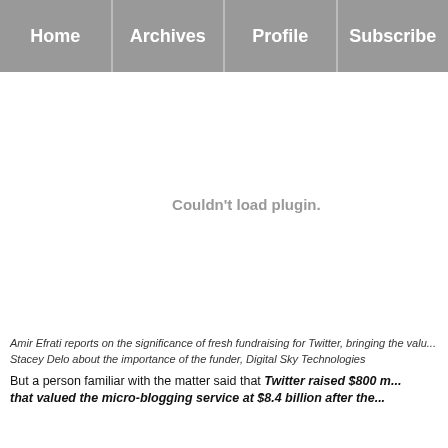Home | Archives | Profile | Subscribe
[Figure (other): Embedded plugin area showing 'Couldn't load plugin.' message in the center-right of the white area]
Amir Efrati reports on the significance of fresh fundraising for Twitter, bringing the valu... Stacey Delo about the importance of the funder, Digital Sky Technologies
But a person familiar with the matter said that Twitter raised $800 m... that valued the micro-blogging service at $8.4 billion after the...